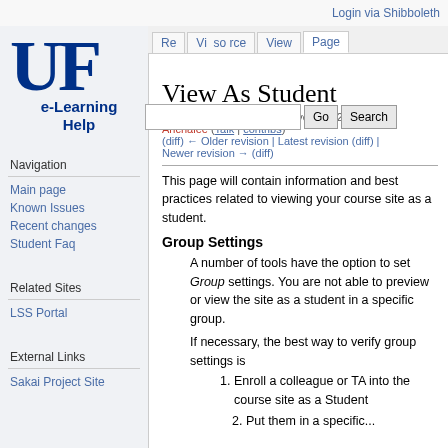Login via Shibboleth
[Figure (logo): UF e-Learning Help logo with large blue UF letters and e-Learning Help text below]
View As Student
Revision as of 19:21, 20 November 2012 by Anchalee (Talk | contribs)
(diff) ← Older revision | Latest revision (diff) | Newer revision → (diff)
This page will contain information and best practices related to viewing your course site as a student.
Group Settings
A number of tools have the option to set Group settings. You are not able to preview or view the site as a student in a specific group.
If necessary, the best way to verify group settings is
1. Enroll a colleague or TA into the course site as a Student
2. Put them in a specific...